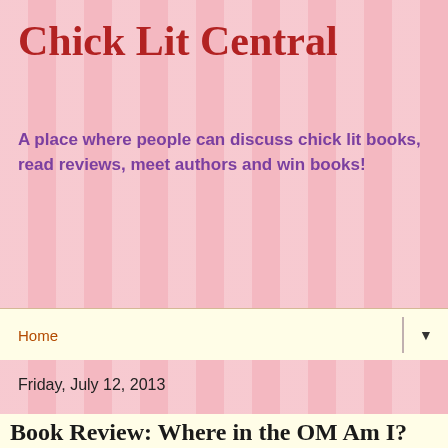Chick Lit Central
A place where people can discuss chick lit books, read reviews, meet authors and win books!
Home
Friday, July 12, 2013
Book Review: Where in the OM Am I?
[Figure (photo): Book cover of 'Where in the OM Am I?' showing the title in yellow text on an orange background with a woman in the center holding a laptop and tablet, set against a lotus/om symbol shape in white.]